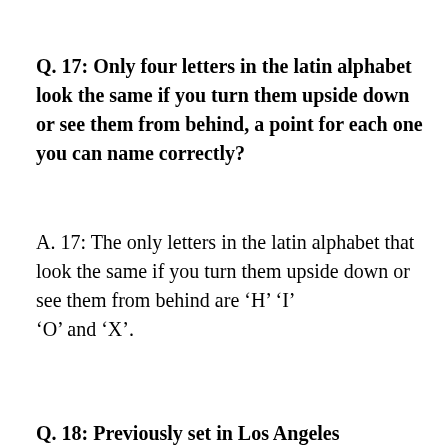Q. 17:  Only four letters in the latin alphabet look the same if you turn them upside down or see them from behind, a point for each one you can name correctly?
A. 17:  The only letters in the latin alphabet that look the same if you turn them upside down or see them from behind are  'H'  'I'  'O'  and  'X'.
Q. 18:  Previously set in Los Angeles